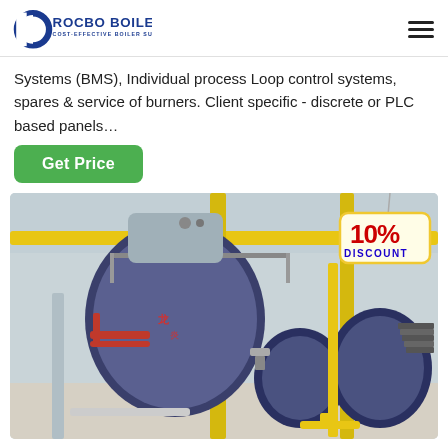ROCBO BOILER - COST-EFFECTIVE BOILER SUPPLIER
Systems (BMS), Individual process Loop control systems, spares & service of burners. Client specific - discrete or PLC based panels...
Get Price
[Figure (photo): Industrial boilers in a factory setting. Two large blue cylindrical boilers with yellow overhead pipes and red accent pipes. A 10% DISCOUNT badge is shown in the top right corner of the image.]